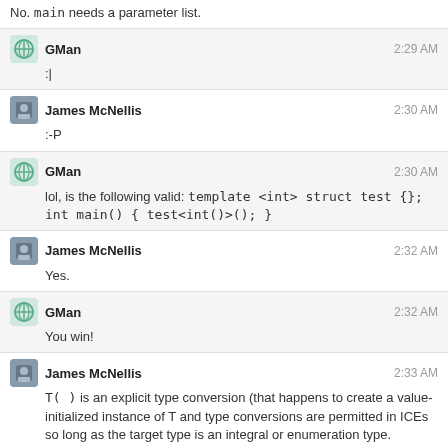No. main needs a parameter list.
GMan 2:29 AM
:|
James McNellis 2:30 AM
:-P
GMan 2:30 AM
lol, is the following valid: template <int> struct test {}; int main() { test<int()>(); }
James McNellis 2:32 AM
Yes.
GMan 2:32 AM
You win!
James McNellis 2:33 AM
T( ) is an explicit type conversion (that happens to create a value-initialized instance of T and type conversions are permitted in ICEs so long as the target type is an integral or enumeration type.
Clause 5 FTW
GMan 2:34 AM
:) now someone else stimulate a conversation. we need like 20 or 50 people
James McNellis 2:34 AM
C++ is a rather boring topic for a chat room.